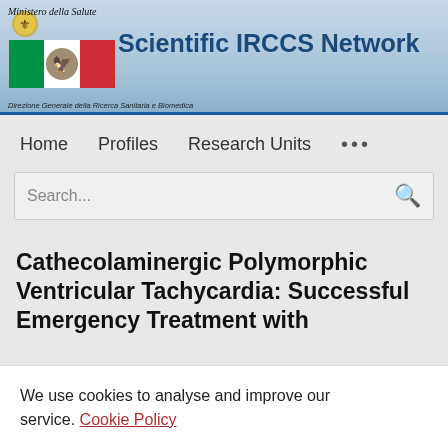Scientific IRCCS Network — Ministero della Salute — Direzione Generale della Ricerca Sanitaria e Biomedica
Home   Profiles   Research Units   ...
Search...
Cathecolaminergic Polymorphic Ventricular Tachycardia: Successful Emergency Treatment with
We use cookies to analyse and improve our service. Cookie Policy